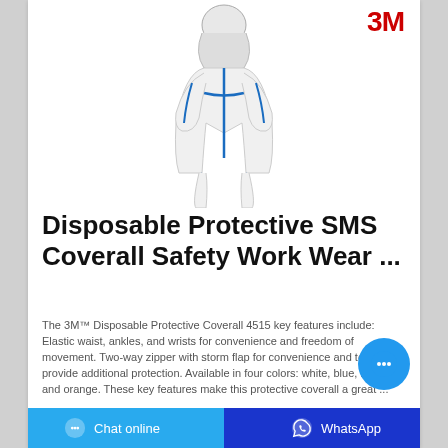[Figure (photo): 3M white disposable protective SMS coverall suit with blue zipper and elastic features, shown on a human figure standing]
3M
Disposable Protective SMS Coverall Safety Work Wear ...
The 3M™ Disposable Protective Coverall 4515 key features include: Elastic waist, ankles, and wrists for convenience and freedom of movement. Two-way zipper with storm flap for convenience and to help provide additional protection. Available in four colors: white, blue, red, and orange. These key features make this protective coverall a great ...
Chat online   WhatsApp